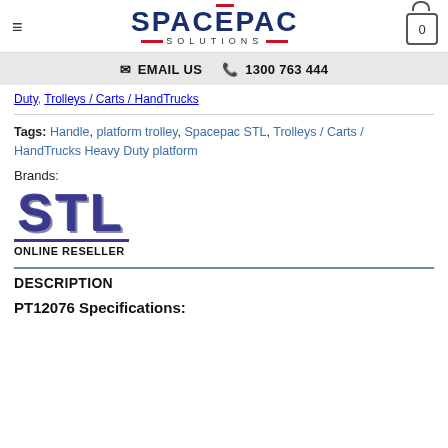SPACEPAC SOLUTIONS — EMAIL US  1300 763 444
Duty, Trolleys / Carts / HandTrucks
Tags: Handle, platform trolley, Spacepac STL, Trolleys / Carts / HandTrucks Heavy Duty platform
Brands:
[Figure (logo): STL brand logo with text 'ONLINE RESELLER' below]
DESCRIPTION
PT12076 Specifications: